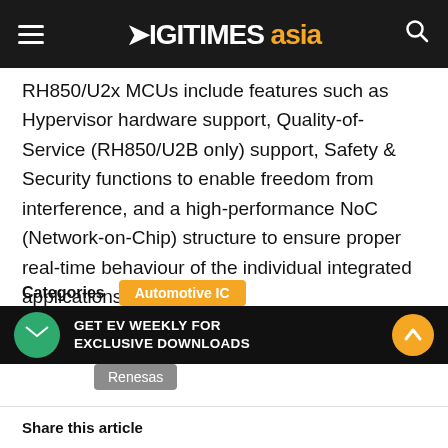DIGITIMES asia
RH850/U2x MCUs include features such as Hypervisor hardware support, Quality-of-Service (RH850/U2B only) support, Safety & Security functions to enable freedom from interference, and a high-performance NoC (Network-on-Chip) structure to ensure proper real-time behaviour of the individual integrated applications.
Categories  Automotive IC
Tags  automotive  Automotive IC  Japan  Renesas
GET EV WEEKLY FOR EXCLUSIVE DOWNLOADS
Share this article